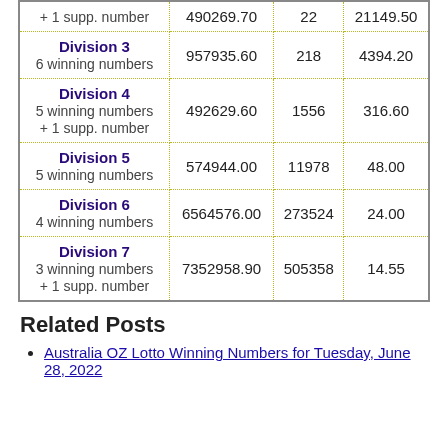| Division | Prize Pool | Winners | Per Winner |
| --- | --- | --- | --- |
| 6 winning numbers
+ 1 supp. number | 490269.70 | 22 | 21149.50 |
| Division 3
6 winning numbers | 957935.60 | 218 | 4394.20 |
| Division 4
5 winning numbers
+ 1 supp. number | 492629.60 | 1556 | 316.60 |
| Division 5
5 winning numbers | 574944.00 | 11978 | 48.00 |
| Division 6
4 winning numbers | 6564576.00 | 273524 | 24.00 |
| Division 7
3 winning numbers
+ 1 supp. number | 7352958.90 | 505358 | 14.55 |
Related Posts
Australia OZ Lotto Winning Numbers for Tuesday, June 28, 2022